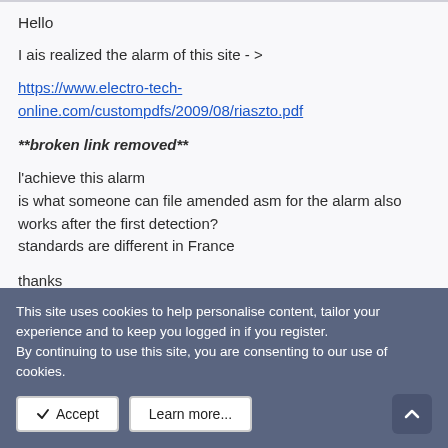Hello
I ais realized the alarm of this site - >
https://www.electro-tech-online.com/custompdfs/2009/08/riaszto.pdf
**broken link removed**
l'achieve this alarm
is what someone can file amended asm for the alarm also works after the first detection?
standards are different in France
thanks
This site uses cookies to help personalise content, tailor your experience and to keep you logged in if you register.
By continuing to use this site, you are consenting to our use of cookies.